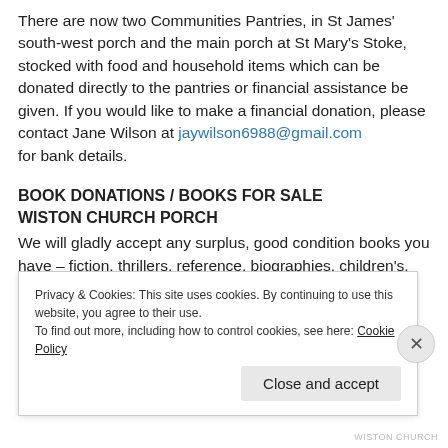There are now two Communities Pantries, in St James' south-west porch and the main porch at St Mary's Stoke, stocked with food and household items which can be donated directly to the pantries or financial assistance be given. If you would like to make a financial donation, please contact Jane Wilson at jaywilson6988@gmail.com for bank details.
BOOK DONATIONS / BOOKS FOR SALE WISTON CHURCH PORCH
We will gladly accept any surplus, good condition books you have – fiction, thrillers, reference, biographies, children's, cookery, etc – which you might like to donate to Wiston church. 4 books for £1  Take a walk along the footpath and call in!
Privacy & Cookies: This site uses cookies. By continuing to use this website, you agree to their use.
To find out more, including how to control cookies, see here: Cookie Policy
WISTON CHURCH